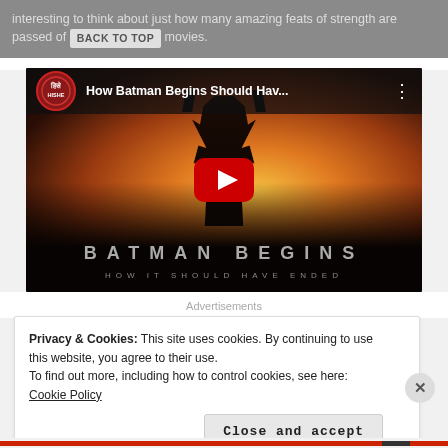...increasing to think about just how many amazing feats of strength are passed off... movies.
[Figure (screenshot): YouTube video thumbnail for 'How Batman Begins Should Hav...' by HISHE channel, showing Batman standing against an orange sky with bats, with BATMAN BEGINS HOW IT SHOULD HAVE ENDED text overlay and a red play button in the center.]
Advertisements
Privacy & Cookies: This site uses cookies. By continuing to use this website, you agree to their use.
To find out more, including how to control cookies, see here: Cookie Policy
Close and accept